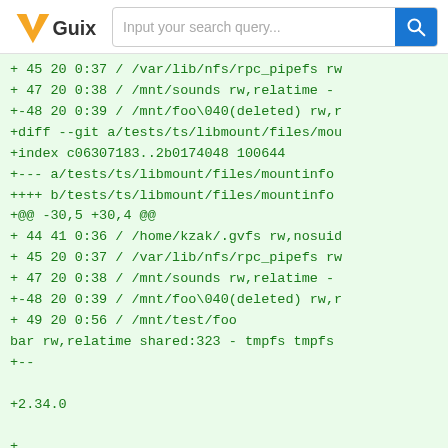Guix — Input your search query...
+ 45 20 0:37 / /var/lib/nfs/rpc_pipefs rw
+ 47 20 0:38 / /mnt/sounds rw,relatime -
+-48 20 0:39 / /mnt/foo\040(deleted) rw,r
+diff --git a/tests/ts/libmount/files/mou
+index c06307183..2b0174048 100644
+--- a/tests/ts/libmount/files/mountinfo
++++ b/tests/ts/libmount/files/mountinfo
+@@ -30,5 +30,4 @@
+ 44 41 0:36 / /home/kzak/.gvfs rw,nosuid
+ 45 20 0:37 / /var/lib/nfs/rpc_pipefs rw
+ 47 20 0:38 / /mnt/sounds rw,relatime -
+-48 20 0:39 / /mnt/foo\040(deleted) rw,r
+ 49 20 0:56 / /mnt/test/foo
bar rw,relatime shared:323 - tmpfs tmpfs
+--
+2.34.0
+